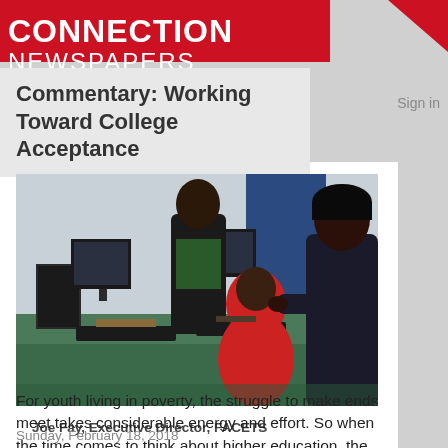THE CONNECTION NEWSPAPERS
Commentary: Working Toward College Acceptance
Sign in
[Figure (photo): Students working at computers in a computer lab. A person in a red hoodie sits at a desktop computer while another person in a dark jacket stands nearby looking at the screen.]
Joe Fay, Executive Director, FACETS
Sunday, February 18, 2018
For youth living in poverty, the struggle to make ends meet takes considerable energy and effort. So when the time comes to think about higher education, the dream of going to college may